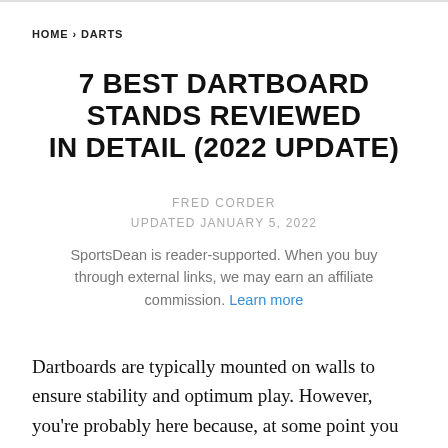HOME › DARTS
7 BEST DARTBOARD STANDS REVIEWED IN DETAIL (2022 UPDATE)
FRED CORDER
UPDATED JANUARY 5, 2022
SportsDean is reader-supported. When you buy through external links, we may earn an affiliate commission. Learn more
Dartboards are typically mounted on walls to ensure stability and optimum play. However, you're probably here because, at some point you might